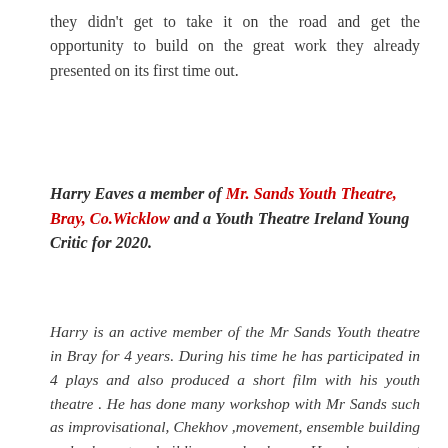they didn't get to take it on the road and get the opportunity to build on the great work they already presented on its first time out.
Harry Eaves a member of Mr. Sands Youth Theatre, Bray, Co.Wicklow and a Youth Theatre Ireland Young Critic for 2020.
Harry is an active member of the Mr Sands Youth theatre in Bray for 4 years. During his time he has participated in 4 plays and also produced a short film with his youth theatre . He has done many workshop with Mr Sands such as improvisational, Chekhov ,movement, ensemble building and character building work shops. He shows great enthusiasm for drama and the art and is looking